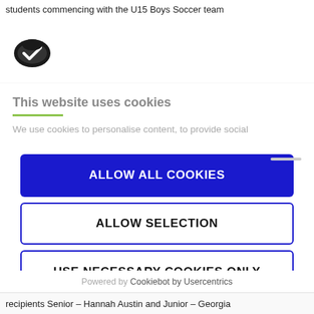students commencing with the U15 Boys Soccer team
[Figure (logo): Cookiebot logo - dark oval shield with checkmark]
This website uses cookies
We use cookies to personalise content, to provide social
ALLOW ALL COOKIES
ALLOW SELECTION
USE NECESSARY COOKIES ONLY
Powered by Cookiebot by Usercentrics
recipients Senior – Hannah Austin and Junior – Georgia